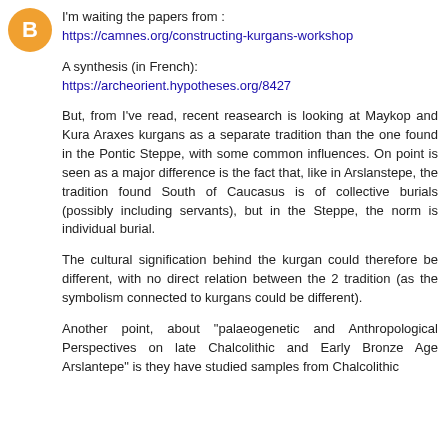[Figure (logo): Orange circular avatar/logo icon]
I'm waiting the papers from :
https://camnes.org/constructing-kurgans-workshop
A synthesis (in French):
https://archeorient.hypotheses.org/8427
But, from I've read, recent reasearch is looking at Maykop and Kura Araxes kurgans as a separate tradition than the one found in the Pontic Steppe, with some common influences. On point is seen as a major difference is the fact that, like in Arslanstepe, the tradition found South of Caucasus is of collective burials (possibly including servants), but in the Steppe, the norm is individual burial.
The cultural signification behind the kurgan could therefore be different, with no direct relation between the 2 tradition (as the symbolism connected to kurgans could be different).
Another point, about "palaeogenetic and Anthropological Perspectives on late Chalcolithic and Early Bronze Age Arslantepe" is they have studied samples from Chalcolithic